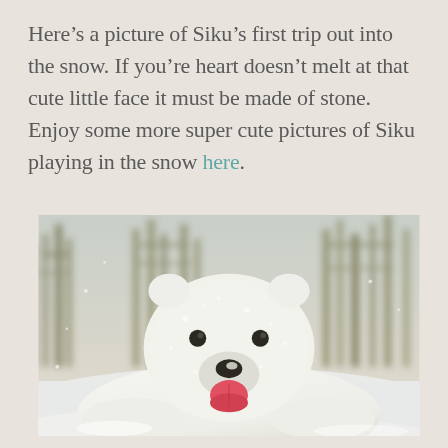Here's a picture of Siku's first trip out into the snow. If you're heart doesn't melt at that cute little face it must be made of stone. Enjoy some more super cute pictures of Siku playing in the snow here.
[Figure (photo): A young polar bear cub (Siku) lying in snow with its tongue sticking out, dusted with snow on its face and fur, with bare winter trees visible in the blurred background.]